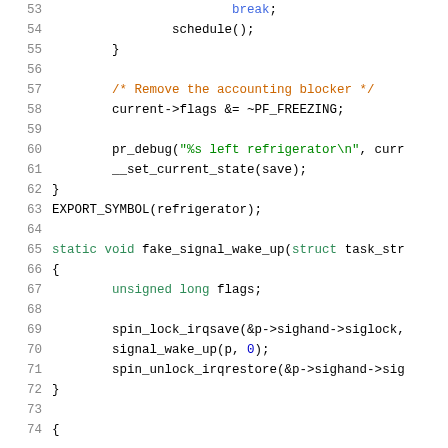[Figure (screenshot): Source code listing in a code editor showing C code lines 53-74, with syntax highlighting. Lines show a function with break, schedule(), closing brace, comment about removing accounting blocker, current->flags operation, pr_debug call, __set_current_state, EXPORT_SYMBOL, and a new static void function fake_signal_wake_up with lock/unlock operations.]